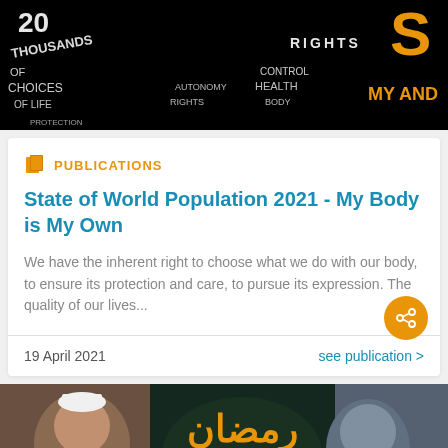[Figure (photo): Black banner with white word-art text showing words like 'RIGHTS', 'CONTROL', 'MY AND' and other text forming facial silhouettes]
PUBLICATIONS
State of World Population 2021 - My Body is My Own
We have the inherent right to choose what we do with our body, to ensure its protection and care, to pursue its expression. The quality of our lives...
19 April 2021
see publication >
[Figure (photo): Photo showing an elderly man on the left, Arabic calligraphy text in orange in the center, and a woman on the right, against a dark teal background]